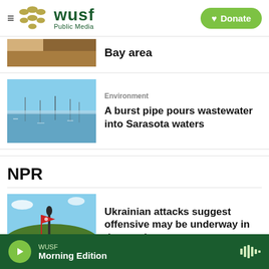WUSF Public Media
[Figure (photo): Partial aerial/landscape photo cropped at top, tan/earthy colors]
Bay area
[Figure (photo): Harbor or bay with boats on water under blue sky]
Environment
A burst pipe pours wastewater into Sarasota waters
NPR
[Figure (photo): Red flag with man on monument near river]
Ukrainian attacks suggest offensive may be underway in the south
WUSF Morning Edition